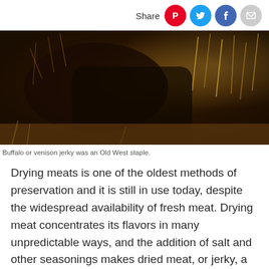Share
[Figure (photo): Close-up photograph of a bison or buffalo in tall dry grass and brush, dark brown fur visible with golden grass surroundings.]
Buffalo or venison jerky was an Old West staple.
Drying meats is one of the oldest methods of preservation and it is still in use today, despite the widespread availability of fresh meat. Drying meat concentrates its flavors in many unpredictable ways, and the addition of salt and other seasonings makes dried meat, or jerky, a very tasty snack or trail food.